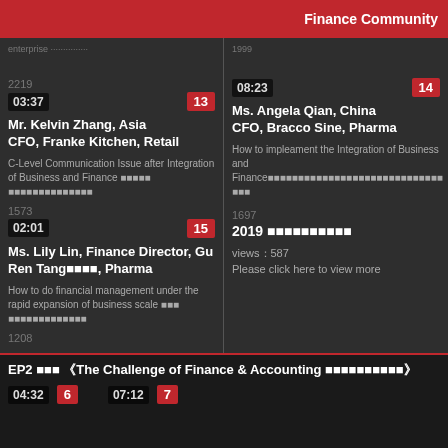Finance Community
enterprise ... | 1999
2219
03:37 | 13
Mr. Kelvin Zhang, Asia CFO, Franke Kitchen, Retail
C-Level Communication Issue after Integration of Business and Finance
08:23 | 14
Ms. Angela Qian, China CFO, Bracco Sine, Pharma
How to impleament the Integration of Business and Finance
1573
02:01 | 15
Ms. Lily Lin, Finance Director, Gu Ren Tang, Pharma
How to do financial management under the rapid expansion of business scale
1697
2019 年度精选 大咖视频
views：587
Please click here to view more
1208
EP2 精选 《The Challenge of Finance & Accounting 财务的挑战与机遇》
04:32 | 6
07:12 | 7